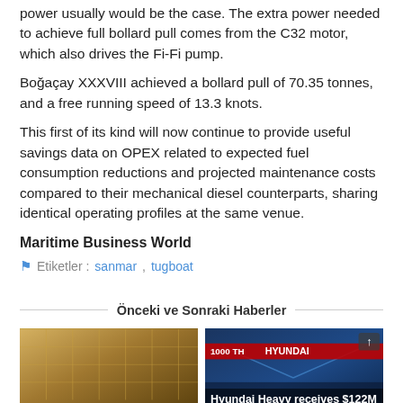power usually would be the case. The extra power needed to achieve full bollard pull comes from the C32 motor, which also drives the Fi-Fi pump.
Boğaçay XXXVIII achieved a bollard pull of 70.35 tonnes, and a free running speed of 13.3 knots.
This first of its kind will now continue to provide useful savings data on OPEX related to expected fuel consumption reductions and projected maintenance costs compared to their mechanical diesel counterparts, sharing identical operating profiles at the same venue.
Maritime Business World
Etiketler : sanmar, tugboat
Önceki ve Sonraki Haberler
[Figure (photo): Cruise ship under construction scaffold]
Three cruise ships to be laid
[Figure (photo): Hyundai Heavy nighttime harbor scene]
Hyundai Heavy receives $122M order for two oil